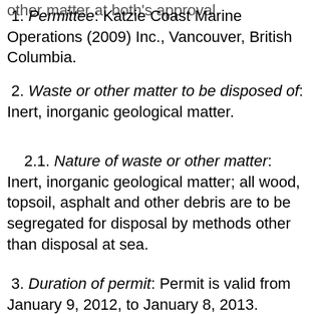1. Permittee: Katzie Coast Marine Operations (2009) Inc., Vancouver, British Columbia.
2. Waste or other matter to be disposed of: Inert, inorganic geological matter.
2.1. Nature of waste or other matter: Inert, inorganic geological matter; all wood, topsoil, asphalt and other debris are to be segregated for disposal by methods other than disposal at sea.
3. Duration of permit: Permit is valid from January 9, 2012, to January 8, 2013.